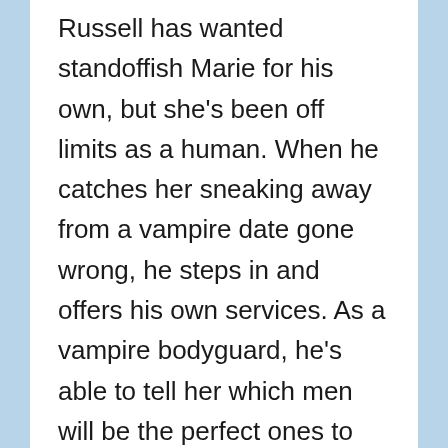Russell has wanted standoffish Marie for his own, but she's been off limits as a human. When he catches her sneaking away from a vampire date gone wrong, he steps in and offers his own services. As a vampire bodyguard, he's able to tell her which men will be the perfect ones to date. But he's secretly got a better plan in mind: if she wants to date the supernatural, a handsome were-cougar would be the best choice of all.